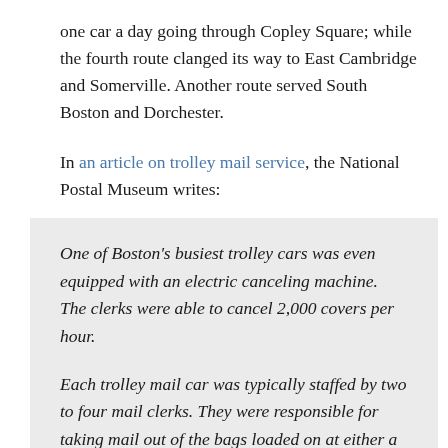one car a day going through Copley Square; while the fourth route clanged its way to East Cambridge and Somerville. Another route served South Boston and Dorchester.
In an article on trolley mail service, the National Postal Museum writes:
One of Boston's busiest trolley cars was even equipped with an electric canceling machine. The clerks were able to cancel 2,000 covers per hour.
Each trolley mail car was typically staffed by two to four mail clerks. They were responsible for taking mail out of the bags loaded on at either a post office or a train station and sorting it along the route, re-packaging it for carriers. The clerks referred to a plan of the city, showing how districts were divided by carriers. Clerks would bundle letters by district for each carrier. Bags containing the letters for carriers who worked out of a substation were